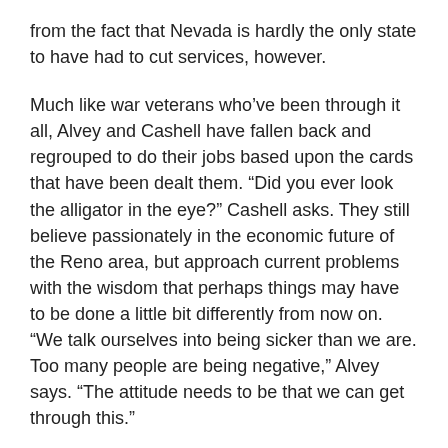from the fact that Nevada is hardly the only state to have had to cut services, however.
Much like war veterans who've been through it all, Alvey and Cashell have fallen back and regrouped to do their jobs based upon the cards that have been dealt them. “Did you ever look the alligator in the eye?” Cashell asks. They still believe passionately in the economic future of the Reno area, but approach current problems with the wisdom that perhaps things may have to be done a little bit differently from now on. “We talk ourselves into being sicker than we are. Too many people are being negative,” Alvey says. “The attitude needs to be that we can get through this.”